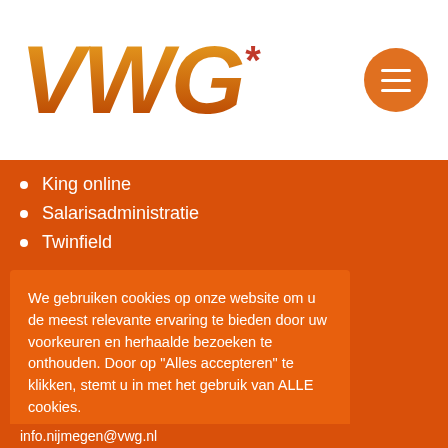[Figure (logo): VWG logo with orange-gradient italic bold text and red asterisk]
King online
Salarisadministratie
Twinfield
VWG Nijmegen
We gebruiken cookies op onze website om u de meest relevante ervaring te bieden door uw voorkeuren en herhaalde bezoeken te onthouden. Door op "Alles accepteren" te klikken, stemt u in met het gebruik van ALLE cookies.
Alles accepteren   Meer lezen
info.nijmegen@vwg.nl